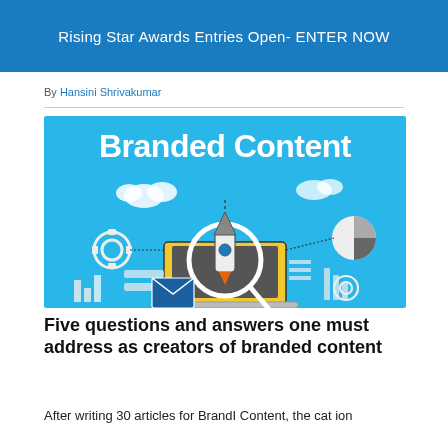Rising Star Awards Entries Open- ENTER NOW
By Hansini Shrivakumar
[Figure (illustration): Branded Content illustration showing a rocket on a laptop with connected marketing icons (gears, pie chart, chat bubbles, bar chart, email envelope) on a bright blue background with bold white 'Branded Content' title text]
Five questions and answers one must address as creators of branded content
After writing 30 articles for BrandI Content, the cat ion